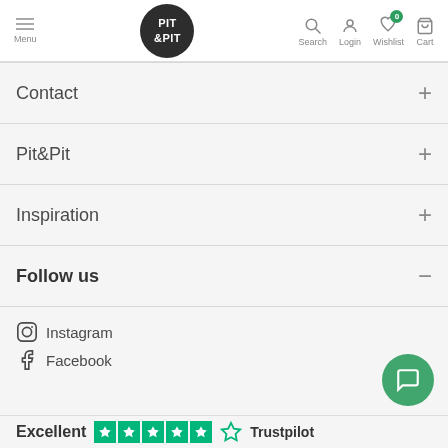PIT&PIT — Menu, Search, Login, Wishlist, Cart
Contact +
Pit&Pit +
Inspiration +
Follow us −
Instagram
Facebook
Excellent ★★★★★ Trustpilot